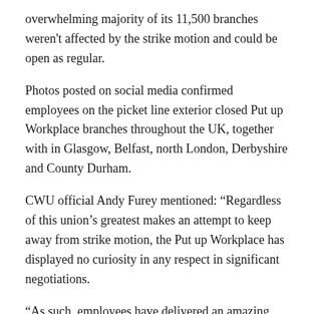overwhelming majority of its 11,500 branches weren't affected by the strike motion and could be open as regular.
Photos posted on social media confirmed employees on the picket line exterior closed Put up Workplace branches throughout the UK, together with in Glasgow, Belfast, north London, Derbyshire and County Durham.
CWU official Andy Furey mentioned: “Regardless of this union’s greatest makes an attempt to keep away from strike motion, the Put up Workplace has displayed no curiosity in any respect in significant negotiations.
“As such, employees have delivered an amazing mandate for strike motion.